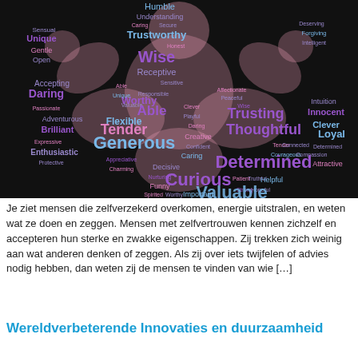[Figure (infographic): Word cloud in the shape of a muscular person flexing both arms, on a black background. Words include positive traits such as Humble, Understanding, Trustworthy, Wise, Receptive, Worthy, Able, Trusting, Thoughtful, Tender, Generous, Determined, Curious, Loyal, Clever, Innocent, Daring, Brilliant, Adventurous, Enthusiastic, Flexible, Creative, Caring, Funny, Decisive, and many more, in pink and purple tones.]
Je ziet mensen die zelfverzekerd overkomen, energie uitstralen, en weten wat ze doen en zeggen. Mensen met zelfvertrouwen kennen zichzelf en accepteren hun sterke en zwakke eigenschappen. Zij trekken zich weinig aan wat anderen denken of zeggen. Als zij over iets twijfelen of advies nodig hebben, dan weten zij de mensen te vinden van wie […]
Wereldverbeterende Innovaties en duurzaamheid